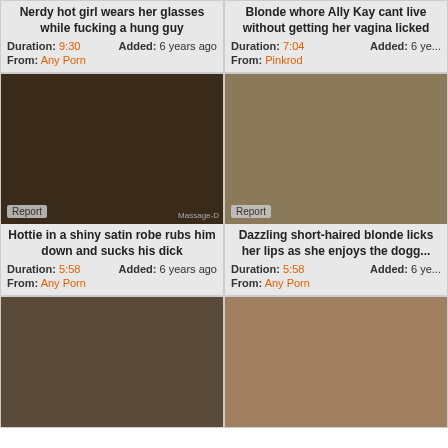Nerdy hot girl wears her glasses while fucking a hung guy
Duration: 9:30   Added: 6 years ago   From: Any Porn
[Figure (photo): Adult video thumbnail showing a blonde woman]
Hottie in a shiny satin robe rubs him down and sucks his dick
Duration: 5:58   Added: 6 years ago   From: Any Porn
[Figure (photo): Adult video thumbnail showing a blonde woman in blue shirt]
Blonde whore Ally Kay cant live without getting her vagina licked
Duration: 7:04   Added: 6 years ago   From: Pinkrod
Dazzling short-haired blonde licks her lips as she enjoys the doggy
Duration: 5:58   Added: 6 years ago   From: Any Porn
[Figure (photo): Adult video thumbnail bottom left]
[Figure (photo): Adult video thumbnail bottom right]